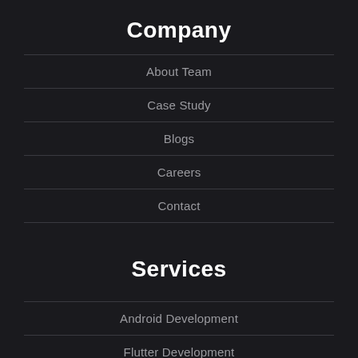Company
About Team
Case Study
Blogs
Careers
Contact
Services
Android Development
Flutter Development
iOS Development
Mobile App Development
React Native Development